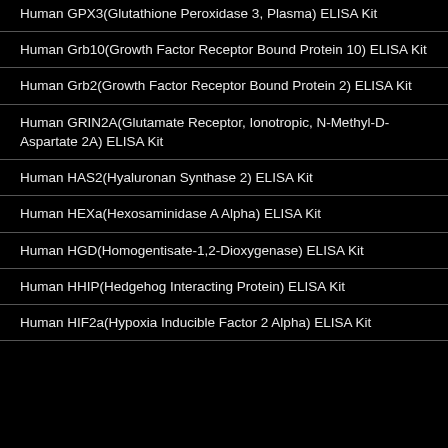Human GPX3(Glutathione Peroxidase 3, Plasma) ELISA Kit
Human Grb10(Growth Factor Receptor Bound Protein 10) ELISA Kit
Human Grb2(Growth Factor Receptor Bound Protein 2) ELISA Kit
Human GRIN2A(Glutamate Receptor, Ionotropic, N-Methyl-D-Aspartate 2A) ELISA Kit
Human HAS2(Hyaluronan Synthase 2) ELISA Kit
Human HEXa(Hexosaminidase A Alpha) ELISA Kit
Human HGD(Homogentisate-1,2-Dioxygenase) ELISA Kit
Human HHIP(Hedgehog Interacting Protein) ELISA Kit
Human HIF2a(Hypoxia Inducible Factor 2 Alpha) ELISA Kit